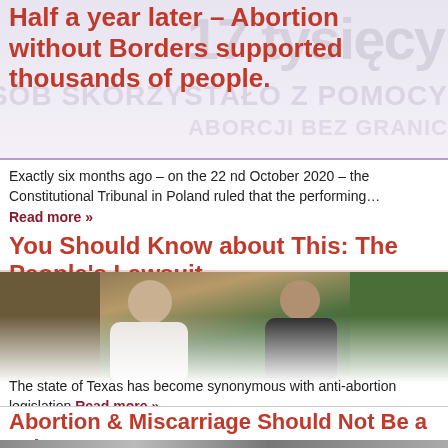Half a year later – Abortion without Borders supported thousands of people.
Exactly six months ago – on the 22 nd October 2020 – the Constitutional Tribunal in Poland ruled that the performing…
Read more »
You Should Know about This: The People's Lawsuit
[Figure (photo): Two people sitting, one in white sleeveless top, one in black top, with green foliage background]
The state of Texas has become synonymous with anti-abortion legislation Read more »
Abortion & Miscarriage Should Not Be a Crime
[Figure (photo): Partial view of a person, dark toned photo at bottom of page]